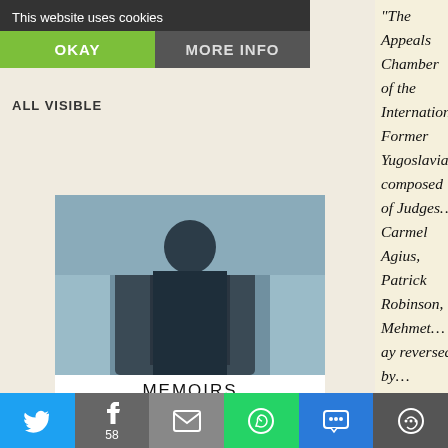This website uses cookies
OKAY
MORE INFO
[Figure (photo): Book cover: MEMOIRS by ZVONKO BUSIC - shows a man in a dark coat against a blue-grey background]
[Figure (photo): Book cover: IN THE EYE OF THE STORM - shows a dark stormy landscape with a silhouetted figure]
ALL VISIBLE
"The Appeals Chamber of the International... Former Yugoslavia, composed of Judges... Carmel Agius, Patrick Robinson, Mehmet... ay reversed by... Judges Agius... Gotovina's and Mladen Markac's convicti... humanity and violations of the laws or cu... verdicts of acquittal. On 15 April 2011, Trial Chamber found Mr.... guilty of committing crimes against huma... laws or customs of war from July to Sept... in a joint criminal enterprise to permane... the Serb civilian population from the Kra... Gotovina was sentenced to 24 years of im... Markac was sentenced to 18 years of impr... The Appeals Chamber unanimously foun... erred in concluding that all artillery impa... 200 metres from a target deemed legitima...
Twitter | Facebook 58 | Email | WhatsApp | SMS | More